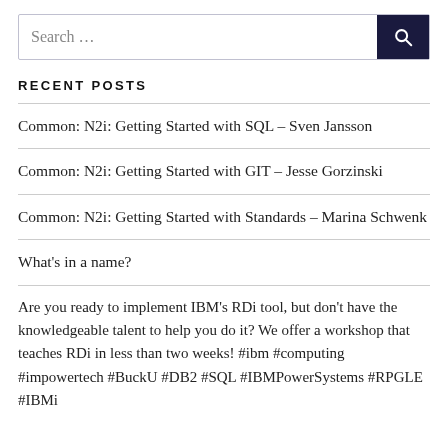[Figure (screenshot): Search input box with dark navy search button containing a magnifying glass icon]
RECENT POSTS
Common: N2i: Getting Started with SQL – Sven Jansson
Common: N2i: Getting Started with GIT – Jesse Gorzinski
Common: N2i: Getting Started with Standards – Marina Schwenk
What's in a name?
Are you ready to implement IBM's RDi tool, but don't have the knowledgeable talent to help you do it? We offer a workshop that teaches RDi in less than two weeks! #ibm #computing #impowertech #BuckU #DB2 #SQL #IBMPowerSystems #RPGLE #IBMi